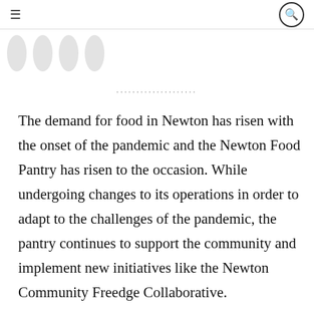≡  🔍
[Figure (illustration): Four grey oval shapes partially visible at top of page, resembling cropped profile icons or decorative ovals.]
····················
The demand for food in Newton has risen with the onset of the pandemic and the Newton Food Pantry has risen to the occasion. While undergoing changes to its operations in order to adapt to the challenges of the pandemic, the pantry continues to support the community and implement new initiatives like the Newton Community Freedge Collaborative.